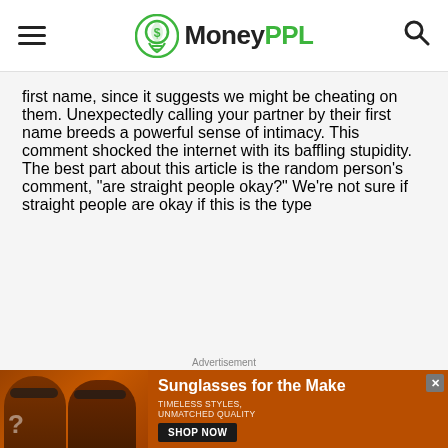MoneyPPL
first name, since it suggests we might be cheating on them. Unexpectedly calling your partner by their first name breeds a powerful sense of intimacy. This comment shocked the internet with its baffling stupidity. The best part about this article is the random person’s comment, “are straight people okay?” We’re not sure if straight people are okay if this is the type
Advertisement
[Figure (photo): Advertisement banner for sunglasses showing two women wearing sunglasses against an orange background. Text reads: Sunglasses for the Make, TIMELESS STYLES, UNMATCHED QUALITY, SHOP NOW button.]